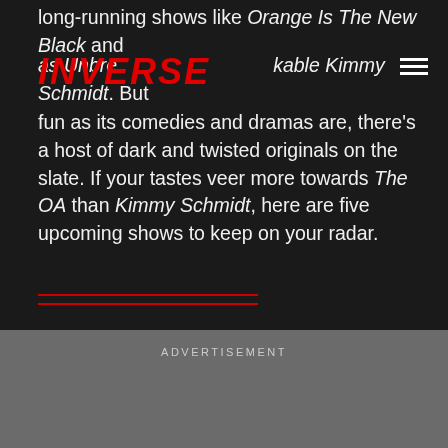INVERSE
long-running shows like Orange Is The New Black and as fun to binge as Unbreakable Kimmy Schmidt. But as fun as its comedies and dramas are, there’s a host of dark and twisted originals on the slate. If your tastes veer more towards The OA than Kimmy Schmidt, here are five upcoming shows to keep on your radar.
1. OSMOSIS
ADVERTISEMENT